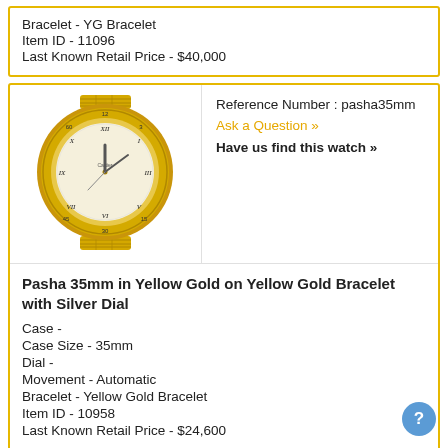Bracelet - YG Bracelet
Item ID - 11096
Last Known Retail Price - $40,000
[Figure (photo): Gold Cartier Pasha 35mm wristwatch with yellow gold case, silver dial with Roman numerals, and yellow gold bracelet]
Reference Number : pasha35mm
Ask a Question »
Have us find this watch »
Pasha 35mm in Yellow Gold on Yellow Gold Bracelet with Silver Dial
Case -
Case Size - 35mm
Dial -
Movement - Automatic
Bracelet - Yellow Gold Bracelet
Item ID - 10958
Last Known Retail Price - $24,600